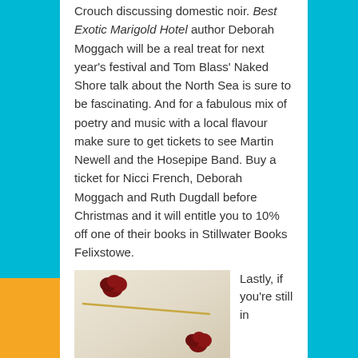Crouch discussing domestic noir. Best Exotic Marigold Hotel author Deborah Moggach will be a real treat for next year's festival and Tom Blass' Naked Shore talk about the North Sea is sure to be fascinating. And for a fabulous mix of poetry and music with a local flavour make sure to get tickets to see Martin Newell and the Hosepipe Band. Buy a ticket for Nicci French, Deborah Moggach and Ruth Dugdall before Christmas and it will entitle you to 10% off one of their books in Stillwater Books Felixstowe.
[Figure (photo): Photo of what appears to be a letter or document with red rose petals and a stem/stick arranged on white paper]
Lastly, if you're still in